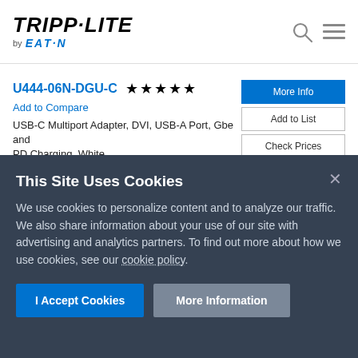TRIPP·LITE by EATON
U444-06N-DGU-C ★★★★★
Add to Compare
USB-C Multiport Adapter, DVI, USB-A Port, Gbe and PD Charging, White
This Site Uses Cookies
We use cookies to personalize content and to analyze our traffic. We also share information about your use of our site with advertising and analytics partners. To find out more about how we use cookies, see our cookie policy.